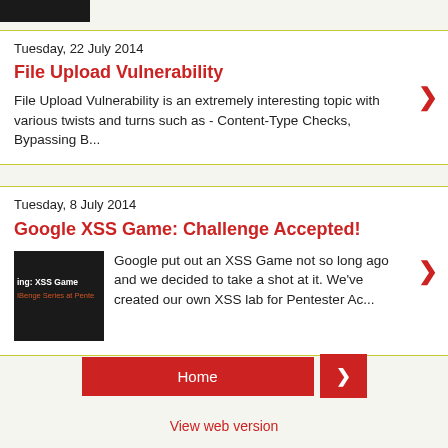[Figure (screenshot): Dark header image/logo area at top left]
Tuesday, 22 July 2014
File Upload Vulnerability
File Upload Vulnerability is an extremely interesting topic with various twists and turns such as - Content-Type Checks, Bypassing B...
Tuesday, 8 July 2014
Google XSS Game: Challenge Accepted!
[Figure (screenshot): Thumbnail showing XSS Game challenge at Pentester Academy]
Google put out an XSS Game not so long ago and we decided to take a shot at it. We've created our own XSS lab for Pentester Ac...
Home
View web version